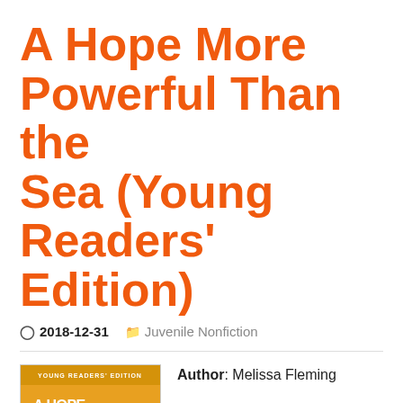A Hope More Powerful Than the Sea (Young Readers' Edition)
2018-12-31   Juvenile Nonfiction
[Figure (illustration): Book cover of 'A Hope More Powerful Than the Sea' Young Readers' Edition by Melissa Fleming, published by Flatiron Books. Orange/yellow background with a photo of a young woman wearing a pink floral hijab. Subtitle: 'One Teen Refugee's Incredible Story of Love, Loss and Survival. The Journey of Doaa Al Zamel.']
Author: Melissa Fleming
Publisher: Flatiron Books
ISBN: 125031206X
Category: Juvenile Nonfiction